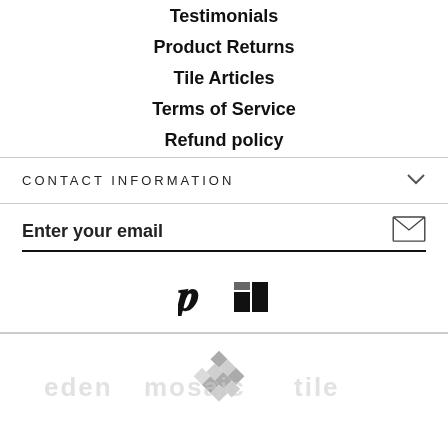Testimonials
Product Returns
Tile Articles
Terms of Service
Refund policy
CONTACT INFORMATION
Enter your email
[Figure (logo): Eden Mosaic Tile logo with diamond mosaic pattern and text]
eden mosaic tile